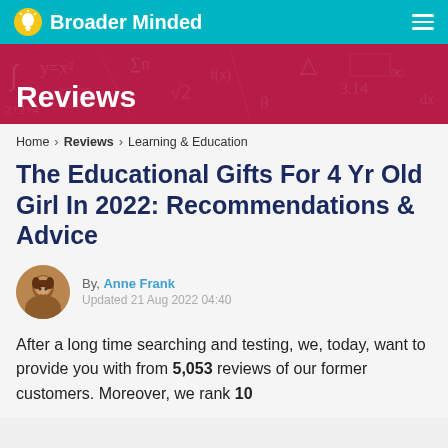Broader Minded
Reviews
Home > Reviews > Learning & Education
The Educational Gifts For 4 Yr Old Girl In 2022: Recommendations & Advice
By, Anne Frank
Updated 21 Aug 2022 04:40
After a long time searching and testing, we, today, want to provide you with from 5,053 reviews of our former customers. Moreover, we rank 10